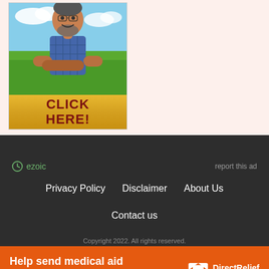[Figure (photo): Advertisement banner showing a smiling man with crossed arms standing in a field with blue sky, with a yellow button saying CLICK HERE!]
ezoic
report this ad
Privacy Policy   Disclaimer   About Us
Contact us
Copyright 2022. All rights reserved.
[Figure (infographic): Orange charity banner: Help send medical aid to Ukraine >> Direct Relief logo]